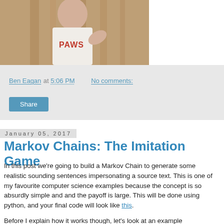[Figure (photo): Partial photo of a person wearing a white t-shirt with red text reading 'PAWS', in front of a wooden surface background]
Ben Eagan at 5:06 PM   No comments:
Share
January 05, 2017
Markov Chains: The Imitation Game
In this post we're going to build a Markov Chain to generate some realistic sounding sentences impersonating a source text. This is one of my favourite computer science examples because the concept is so absurdly simple and and the payoff is large. This will be done using python, and your final code will look like this.
Before I explain how it works though, let's look at an example